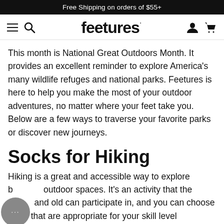Free Shipping on orders of $55+
[Figure (logo): Feetures website navigation bar with hamburger menu, search icon, Feetures logo, user icon, and cart icon]
This month is National Great Outdoors Month. It provides an excellent reminder to explore America's many wildlife refuges and national parks. Feetures is here to help you make the most of your outdoor adventures, no matter where your feet take you. Below are a few ways to traverse your favorite parks or discover new journeys.
Socks for Hiking
Hiking is a great and accessible way to explore beautiful outdoor spaces. It's an activity that the young and old can participate in, and you can choose hikes that are appropriate for your skill level